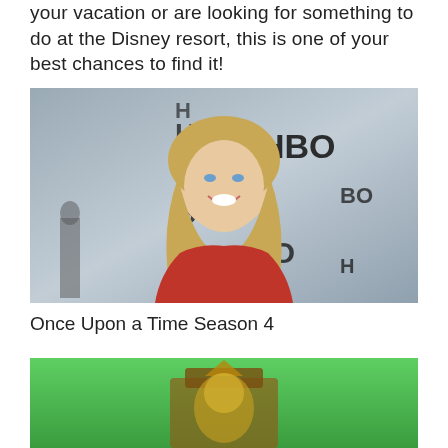your vacation or are looking for something to do at the Disney resort, this is one of your best chances to find it!
[Figure (photo): A smiling blonde woman in a red top posing in front of an HBO event backdrop]
Once Upon a Time Season 4
[Figure (photo): A colorful figure or character on a green background, partially visible at the bottom of the page]